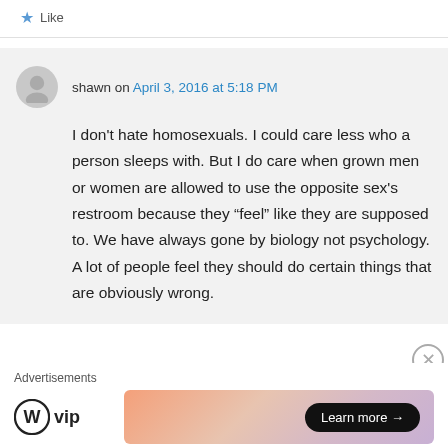Like
shawn on April 3, 2016 at 5:18 PM
I don't hate homosexuals. I could care less who a person sleeps with. But I do care when grown men or women are allowed to use the opposite sex's restroom because they “feel” like they are supposed to. We have always gone by biology not psychology. A lot of people feel they should do certain things that are obviously wrong.
Advertisements
[Figure (logo): WordPress VIP logo with circular W icon and 'vip' text]
[Figure (other): Advertisement banner with gradient background and Learn more button]